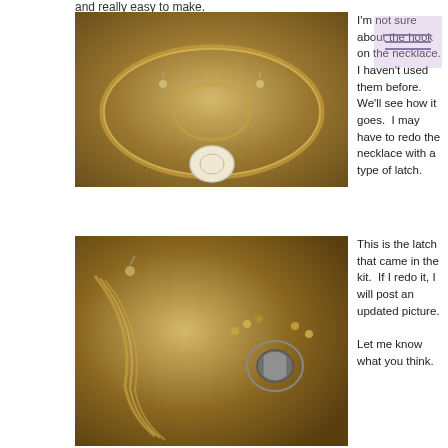and really easy to make.
[Figure (photo): Photo of beaded necklace set with earrings and bracelet laid flat on a white surface, featuring amber/gold colored beads with a white oval pendant.]
I'm not sure about the hook on the necklace. I haven't used them before.  We'll see how it goes.  I may have to redo the necklace with a type of latch.
[Figure (photo): Close-up photo of the beaded necklace set showing the latch/clasp detail of the bracelet and the earring hook, with amber/gold beads.]
This is the latch that came in the kit.  If I redo it, I will post an updated picture.

Let me know what you think.